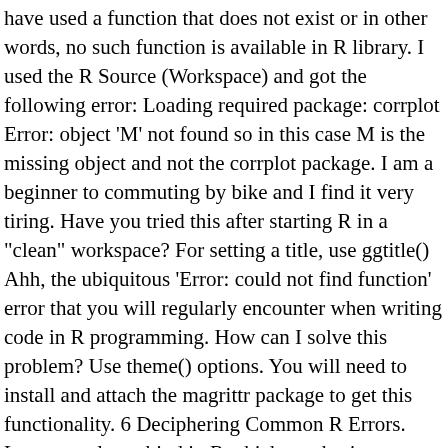have used a function that does not exist or in other words, no such function is available in R library. I used the R Source (Workspace) and got the following error: Loading required package: corrplot Error: object 'M' not found so in this case M is the missing object and not the corrplot package. I am a beginner to commuting by bike and I find it very tiring. Have you tried this after starting R in a "clean" workspace? For setting a title, use ggtitle() Ahh, the ubiquitous 'Error: could not find function' error that you will regularly encounter when writing code in R programming. How can I solve this problem? Use theme() options. You will need to install and attach the magrittr package to get this functionality. 6 Deciphering Common R Errors. Lets see column bind in R which emphasizes on bind_cols() function and cbind() function with an example for each. vif – statistical processing – not part of base R, install the car package. error: could not find function install_github The install_packages function worked perfectly fine. October 9, 2019, 2:16pm #2. could not find function "InitWtMHP.TNT" And